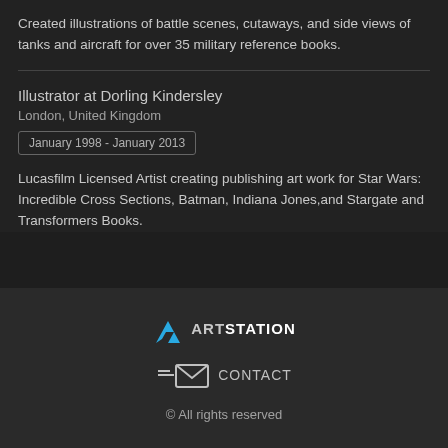Created illustrations of battle scenes, cutaways, and side views of tanks and aircraft for over 35 military reference books.
Illustrator at Dorling Kindersley
London, United Kingdom
January 1998 - January 2013
Lucasfilm Licensed Artist creating publishing art work for Star Wars: Incredible Cross Sections, Batman, Indiana Jones,and Stargate and Transformers Books.
[Figure (logo): ArtStation logo with cyan triangle icon and ARTSTATION text]
CONTACT
© All rights reserved